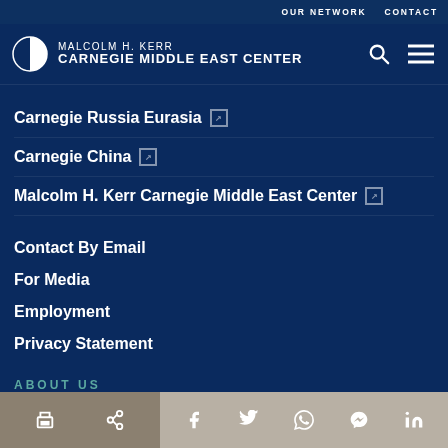OUR NETWORK  CONTACT
[Figure (logo): Malcolm H. Kerr Carnegie Middle East Center logo with half-globe icon]
Carnegie Russia Eurasia ↗
Carnegie China ↗
Malcolm H. Kerr Carnegie Middle East Center ↗
Contact By Email
For Media
Employment
Privacy Statement
ABOUT US
In an increasingly crowded, chaotic, and contested world and marketplace of ideas, the Malcolm H. Kerr Carnegie Middle East Center offers
Print | Share | Facebook | Twitter | WhatsApp | Messenger | LinkedIn